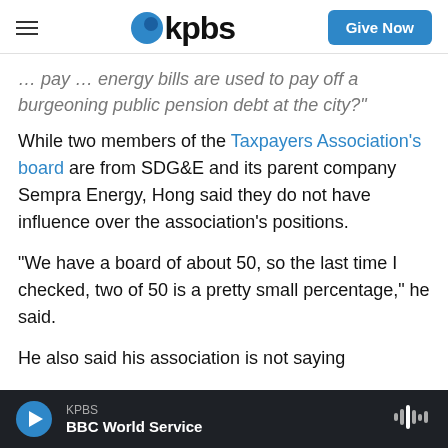KPBS
... pay ... energy bills are used to pay off a burgeoning public pension debt at the city?"
While two members of the Taxpayers Association's board are from SDG&E and its parent company Sempra Energy, Hong said they do not have influence over the association's positions.
"We have a board of about 50, so the last time I checked, two of 50 is a pretty small percentage," he said.
He also said his association is not saying
KPBS | BBC World Service